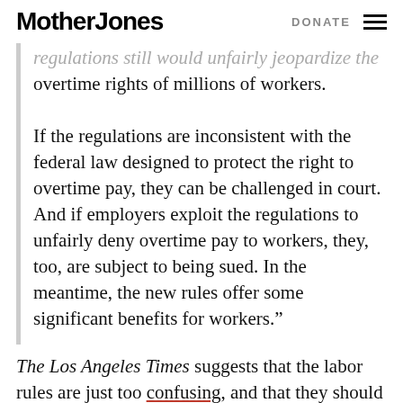Mother Jones | DONATE
regulations still would unfairly jeopardize the overtime rights of millions of workers.
If the regulations are inconsistent with the federal law designed to protect the right to overtime pay, they can be challenged in court. And if employers exploit the regulations to unfairly deny overtime pay to workers, they, too, are subject to being sued. In the meantime, the new rules offer some significant benefits for workers.”
The Los Angeles Times suggests that the labor rules are just too confusing, and that they should be